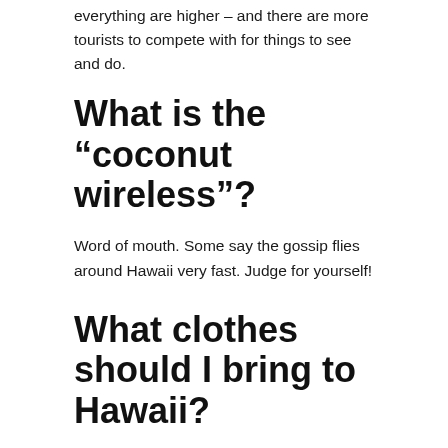everything are higher – and there are more tourists to compete with for things to see and do.
What is the “coconut wireless”?
Word of mouth. Some say the gossip flies around Hawaii very fast. Judge for yourself!
What clothes should I bring to Hawaii?
It is always warm, occasionally a night or morning is cool enough – because of the wind usually – to require a long sleeved shirt or pants to stay comfortable. Plan on